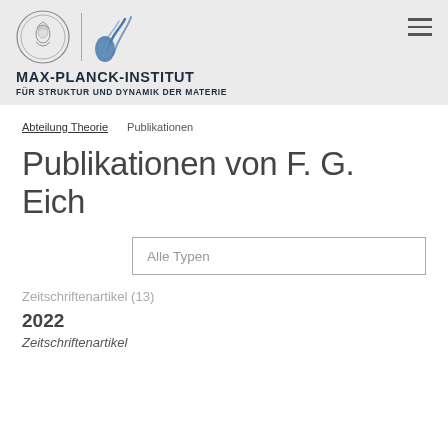[Figure (logo): Max-Planck-Institut für Struktur und Dynamik der Materie logo with classical medallion and wave symbol]
MAX-PLANCK-INSTITUT
FÜR STRUKTUR UND DYNAMIK DER MATERIE
Abteilung Theorie   Publikationen
Publikationen von F. G. Eich
Alle Typen
Zeitschriftenartikel (13)
2022
Zeitschriftenartikel